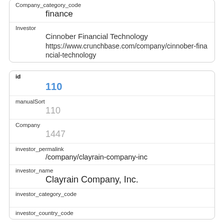| Field | Value |
| --- | --- |
| Company_category_code | finance |
| Investor | Cinnober Financial Technology
https://www.crunchbase.com/company/cinnober-financial-technology |
| Field | Value |
| --- | --- |
| id | 110 |
| manualSort | 110 |
| Company | 1447 |
| investor_permalink | /company/clayrain-company-inc |
| investor_name | Clayrain Company, Inc. |
| investor_category_code |  |
| investor_country_code |  |